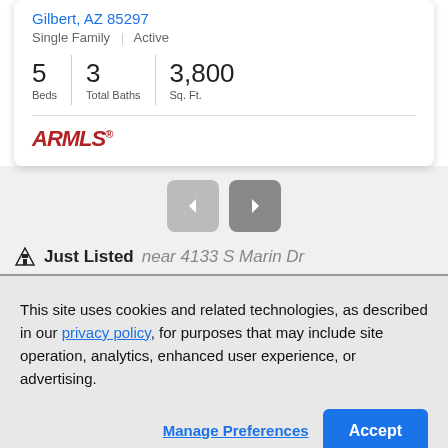Gilbert, AZ 85297
Single Family | Active
| Beds | Total Baths | Sq. Ft. |
| --- | --- | --- |
| 5 | 3 | 3,800 |
[Figure (logo): ARMLS logo in dark red italic bold text]
[Figure (other): Navigation previous and next arrow buttons]
Just Listed near 4133 S Marin Dr
This site uses cookies and related technologies, as described in our privacy policy, for purposes that may include site operation, analytics, enhanced user experience, or advertising.
Manage Preferences
Accept